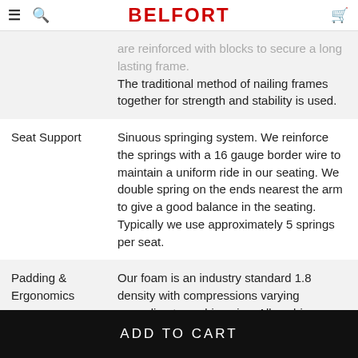BELFORT
| Feature | Description |
| --- | --- |
|  | are reinforced with blocks to secure a long lasting frame. The traditional method of nailing frames together for strength and stability is used. |
| Seat Support | Sinuous springing system. We reinforce the springs with a 16 gauge border wire to maintain a uniform ride in our seating. We double spring on the ends nearest the arm to give a good balance in the seating. Typically we use approximately 5 springs per seat. |
| Padding & Ergonomics | Our foam is an industry standard 1.8 density with compressions varying according to cushion size. All cushions are Dacron wrapped to give the cushions an attractive crown. All styles in our line-up have fully reversible |
ADD TO CART